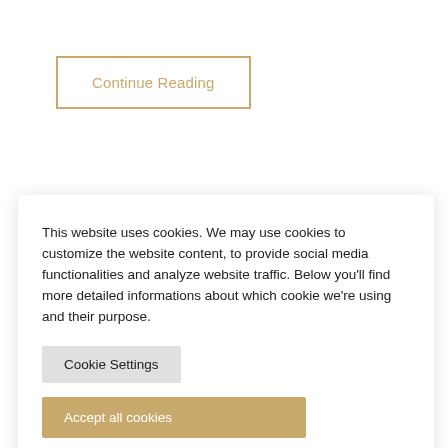Continue Reading
This website uses cookies. We may use cookies to customize the website content, to provide social media functionalities and analyze website traffic. Below you'll find more detailed informations about which cookie we're using and their purpose.
Cookie Settings
Accept all cookies
onal
nce in
The InTo...